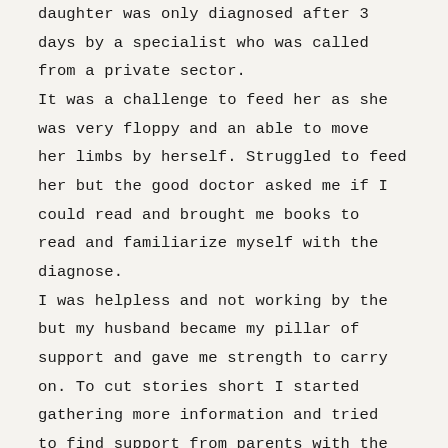daughter was only diagnosed after 3 days by a specialist who was called from a private sector. It was a challenge to feed her as she was very floppy and an able to move her limbs by herself. Struggled to feed her but the good doctor asked me if I could read and brought me books to read and familiarize myself with the diagnose. I was helpless and not working by the but my husband became my pillar of support and gave me strength to carry on. To cut stories short I started gathering more information and tried to find support from parents with the